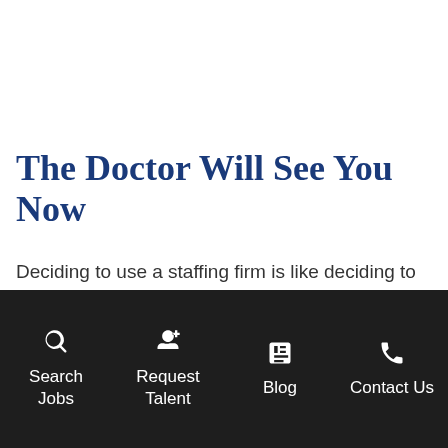The Doctor Will See You Now
Deciding to use a staffing firm is like deciding to go to the doctor. You ask yourself, “Do I really need to, or is this problem something I can take care of myself?”, “Will they be able to diagnose
Search Jobs | Request Talent | Blog | Contact Us